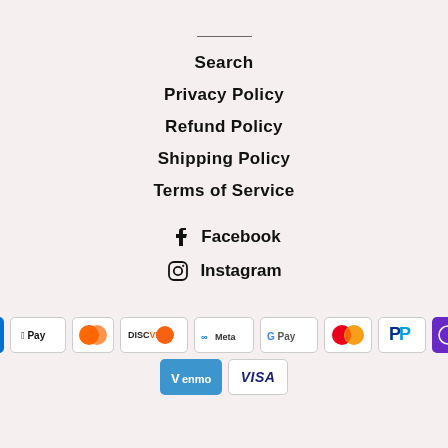Search
Privacy Policy
Refund Policy
Shipping Policy
Terms of Service
Facebook
Instagram
[Figure (infographic): Payment method icons: American Express, Apple Pay, Diners Club, Discover, Meta Pay, Google Pay, Mastercard, PayPal, Shop Pay, Venmo, Visa]